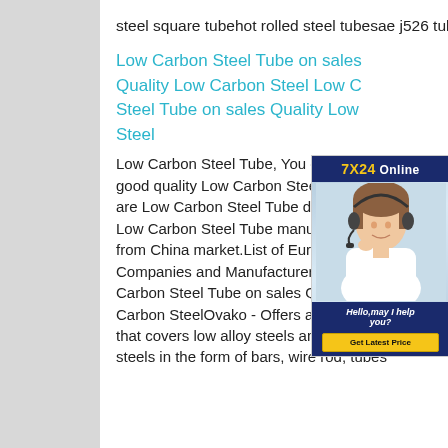steel square tubehot rolled steel tubesae j526 tubing
Low Carbon Steel Tube on sales Quality Low Carbon Steel Low Carbon Steel Tube on sales Quality Low Steel
[Figure (photo): Customer service representative wearing a headset, smiling, with '7X24 Online' header, 'Hello, may I help you?' text, and 'Get Latest Price' button overlay]
Low Carbon Steel Tube, You can find good quality Low Carbon Steel Tube, we are Low Carbon Steel Tube distributor & Low Carbon Steel Tube manufacturers from China market.List of European Steel Companies and Manufacturers Low Carbon Steel Tube on sales Quality Low Carbon SteelOvako - Offers a production that covers low alloy steels and carbon steels in the form of bars, wire rod, tubes